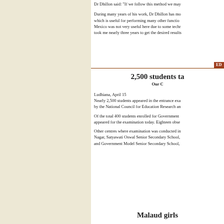Dr Dhillon said: "If we follow this method we may...
During many years of his work, Dr Dhillon has mo... which is useful for performing many other functio... Mexico was not very useful here due to some techn... took me nearly three years to get the desired results...
ED
2,500 students ta
Our C
Ludhiana, April 15
Nearly 2,500 students appeared in the entrance exa... by the National Council for Education Research an...
Of the total 400 students enrolled for Government... appeared for the examination today. Eighteen obse...
Other centres where examination was conducted in... Nagar, Satyawati Oswal Senior Secondary School,... and Government Model Senior Secondary School,...
Malaud girls